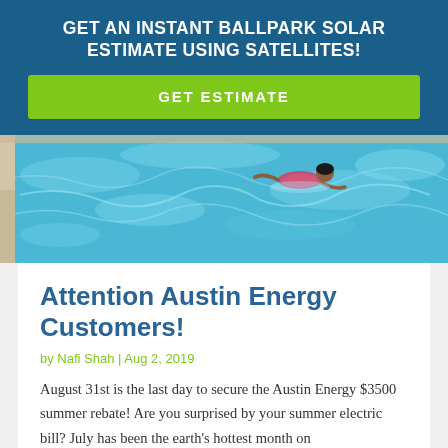GET AN INSTANT BALLPARK SOLAR ESTIMATE USING SATELLITES!
GET ESTIMATE
[Figure (photo): Aerial view of a swimming pool with a person swimming, showing blue water with light reflections and pool edges]
Attention Austin Energy Customers!
by Nafi Shah | Aug 2, 2019
August 31st is the last day to secure the Austin Energy $3500 summer rebate! Are you surprised by your summer electric bill? July has been the earth's hottest month on